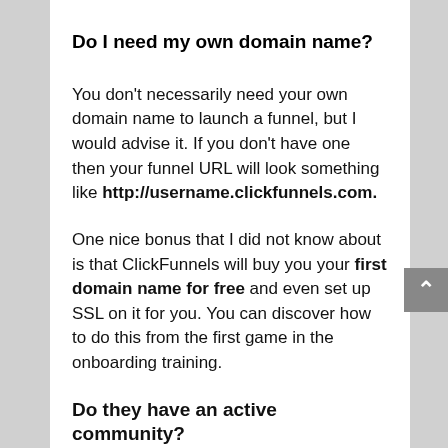Do I need my own domain name?
You don't necessarily need your own domain name to launch a funnel, but I would advise it. If you don't have one then your funnel URL will look something like http://username.clickfunnels.com.
One nice bonus that I did not know about is that ClickFunnels will buy you your first domain name for free and even set up SSL on it for you. You can discover how to do this from the first game in the onboarding training.
Do they have an active community?